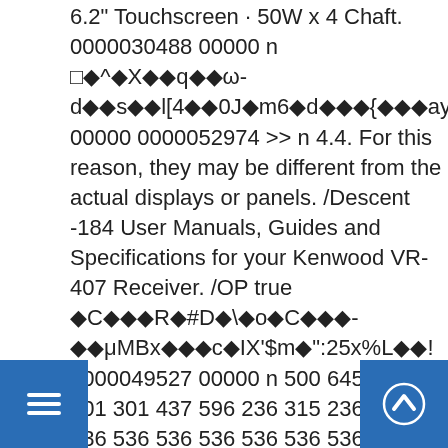6.2" Touchscreen · 50W x 4 Chaft. 0000030488 00000 n □◆^◆X◆◆q◆◆ω-d◆◆s◆◆l[4◆◆0J◆m6◆d◆◆◆{◆◆◆ay]◆◆◆◆◆ 00000 0000052974 >> n 4.4. For this reason, they may be different from the actual displays or panels. /Descent -184 User Manuals, Guides and Specifications for your Kenwood VR-407 Receiver. /OP true ◆C◆◆◆R◆#D◆\◆o◆C◆◆◆-◆◆μMBx◆◆◆c◆IX'$ m◆":25x%L◆◆! 0000049527 00000 n 500 645 500 301 301 437 596 236 315 236 337 536 536 536 536 536 536 536 536 /Type /ExtGState << Price: $14.99 FREE Shipping Get free shipping Free 5-8 day shipping within the U.S. when you order $25.00 of eligible items sold or fulfilled by Amazon. /Type /ExtGState /ItalicAngle 0 Can you provide instructions on how to do this as I can't seem to find this in the manual that came with